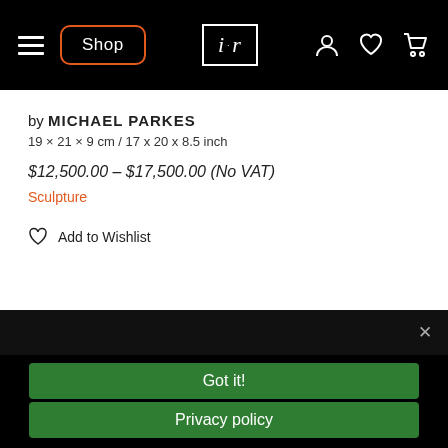Shop | ir | [icons]
by MICHAEL PARKES
19 × 21 × 9 cm / 17 x 20 x 8.5 inch
$12,500.00 – $17,500.00 (No VAT)
Sculpture
Add to Wishlist
We use cookies to ensure that we give you the best experience on our website. Read our cookie policy for more information
Got it!
Privacy policy